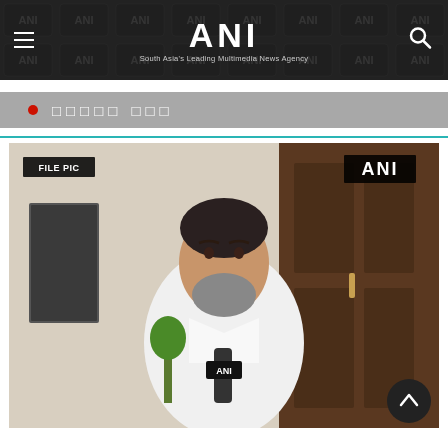ANI — South Asia's Leading Multimedia News Agency
• □□□□□ □□□
[Figure (photo): A man in a white shirt speaking into an ANI microphone, with FILE PIC and ANI badges overlaid on the image. Indoor/outdoor setting with wooden door in background.]